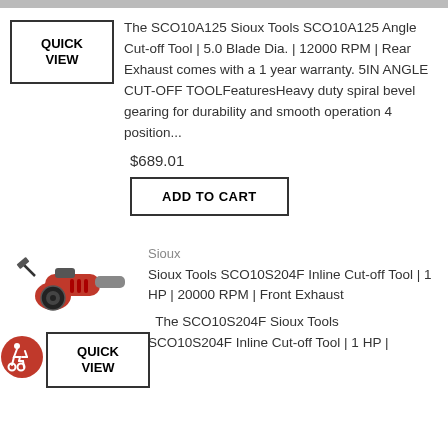[Figure (other): Gray top bar decorative element]
QUICK VIEW
The SCO10A125 Sioux Tools SCO10A125 Angle Cut-off Tool | 5.0 Blade Dia. | 12000 RPM | Rear Exhaust comes with a 1 year warranty. 5IN ANGLE CUT-OFF TOOLFeaturesHeavy duty spiral bevel gearing for durability and smooth operation 4 position...
$689.01
ADD TO CART
[Figure (photo): Red and black angle cut-off power tool]
Sioux
Sioux Tools SCO10S204F Inline Cut-off Tool | 1 HP | 20000 RPM | Front Exhaust
[Figure (logo): Red circular accessibility wheelchair icon]
QUICK VIEW
The SCO10S204F Sioux Tools SCO10S204F Inline Cut-off Tool | 1 HP |